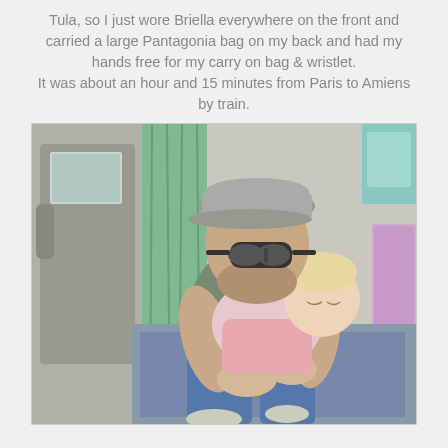Tula, so I just wore Briella everywhere on the front and carried a large Pantagonia bag on my back and had my hands free for my carry on bag & wristlet. It was about an hour and 15 minutes from Paris to Amiens by train.
[Figure (photo): A man wearing a grey flat cap and mirrored sunglasses sits in a train compartment holding a sleeping toddler. Green curtains and a train door are visible in the background.]